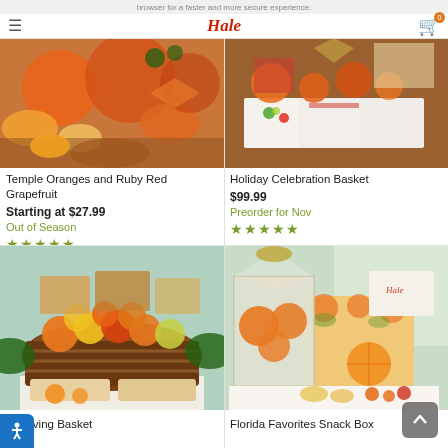browser for a faster and more secure experience. Hale
[Figure (photo): Temple oranges and grapefruit sliced on a wooden surface]
Temple Oranges and Ruby Red Grapefruit
Starting at $27.99
Out of Season
★★★★★
[Figure (photo): Holiday Celebration Basket with fruit, nuts and snacks on white trays]
Holiday Celebration Basket
$99.99
Preorder for Nov
★★★★★
[Figure (photo): Bountiful Giving Basket with fresh fruits, nuts and holiday treats in wicker basket]
ful Giving Basket
[Figure (photo): Florida Favorites Snack Box with oranges, cookies and snacks in decorative box]
Florida Favorites Snack Box